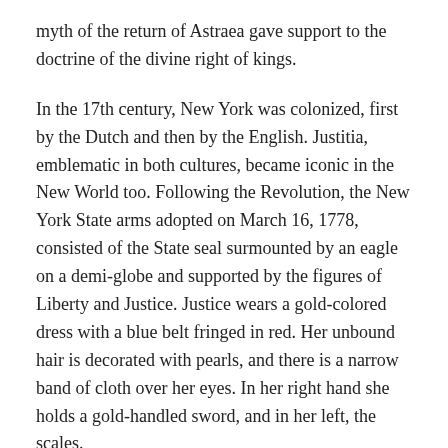myth of the return of Astraea gave support to the doctrine of the divine right of kings.
In the 17th century, New York was colonized, first by the Dutch and then by the English. Justitia, emblematic in both cultures, became iconic in the New World too. Following the Revolution, the New York State arms adopted on March 16, 1778, consisted of the State seal surmounted by an eagle on a demi-globe and supported by the figures of Liberty and Justice. Justice wears a gold-colored dress with a blue belt fringed in red. Her unbound hair is decorated with pearls, and there is a narrow band of cloth over her eyes. In her right hand she holds a gold-handled sword, and in her left, the scales.
For over two centuries, courthouses throughout New York have been adorned with portrayals of Lady Justice. The sculptures, carvings and murals, many by renowned artists, are our